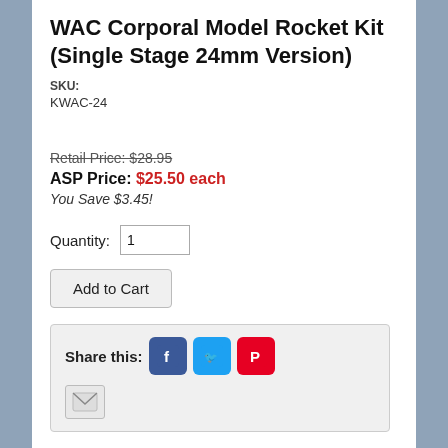WAC Corporal Model Rocket Kit (Single Stage 24mm Version)
SKU:
KWAC-24
Retail Price: $28.95
ASP Price: $25.50 each
You Save $3.45!
Quantity: 1
Add to Cart
Share this: [Facebook] [Twitter] [Pinterest] [Email]